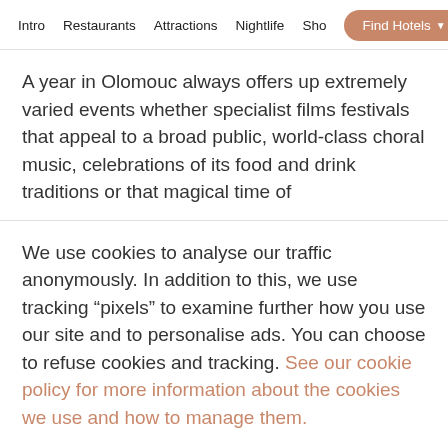Intro  Restaurants  Attractions  Nightlife  Sho  Find Hotels
A year in Olomouc always offers up extremely varied events whether specialist films festivals that appeal to a broad public, world-class choral music, celebrations of its food and drink traditions or that magical time of
We use cookies to analyse our traffic anonymously. In addition to this, we use tracking “pixels” to examine further how you use our site and to personalise ads. You can choose to refuse cookies and tracking. See our cookie policy for more information about the cookies we use and how to manage them.
Refuse
Accept